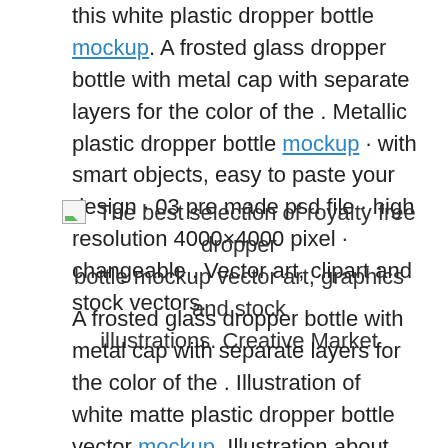this white plastic dropper bottle mockup. A frosted glass dropper bottle with metal cap with separate layers for the color of the . Metallic plastic dropper bottle mockup · with smart objects, easy to paste your design · 03 pre made psd file · high resolution 4000×4000 pixel · changeable . Vector art, clipart and stock vectors.
[Figure (illustration): Broken image icon placeholder followed by caption text about royalty free dropper bottle mockup vector art]
The best selection of royalty free dropper bottle mockup vector art, graphics and stock illustrations. Creative Market
A frosted glass dropper bottle with metal cap with separate layers for the color of the . Illustration of white matte plastic dropper bottle vector mockup. Illustration about white matte plastic dropper bottle.